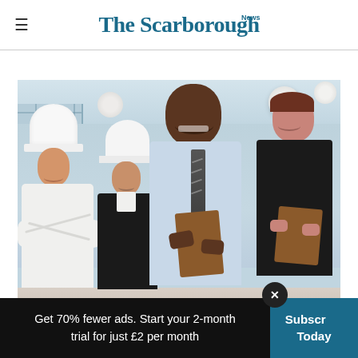The Scarborough News
[Figure (photo): Four hospitality workers posing together in a restaurant/hotel setting: a female chef in white uniform and tall chef hat on the left, a male chef in white uniform and hat behind her, a smiling Black man in a light blue shirt and tie holding a clipboard in the center foreground, and a woman in a dark vest and white shirt on the right. Bright interior with large windows and hanging globe lights in the background.]
Get 70% fewer ads. Start your 2-month trial for just £2 per month
Subscribe Today